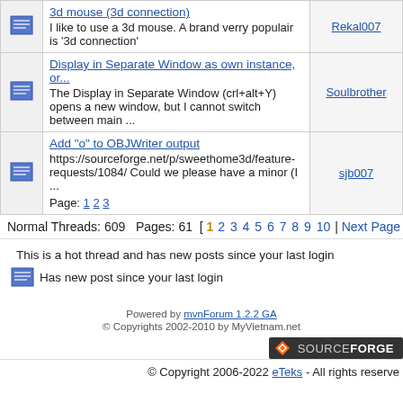|  | Thread | Author |
| --- | --- | --- |
| [icon] | 3d mouse (3d connection)
I like to use a 3d mouse. A brand verry populair is '3d connection' | Rekal007 |
| [icon] | Display in Separate Window as own instance, or...
The Display in Separate Window (crl+alt+Y) opens a new window, but I cannot switch between main ... | Soulbrother |
| [icon] | Add "o" to OBJWriter output
https://sourceforge.net/p/sweethome3d/feature-requests/1084/ Could we please have a minor (I ...
Page: 1 2 3 | sjb007 |
Normal Threads: 609   Pages: 61  [ 1 2 3 4 5 6 7 8 9 10 | Next Page
This is a hot thread and has new posts since your last login
[icon] Has new post since your last login
Powered by mvnForum 1.2.2 GA
© Copyrights 2002-2010 by MyVietnam.net
[Figure (logo): SourceForge logo badge]
© Copyright 2006-2022 eTeks - All rights reserve